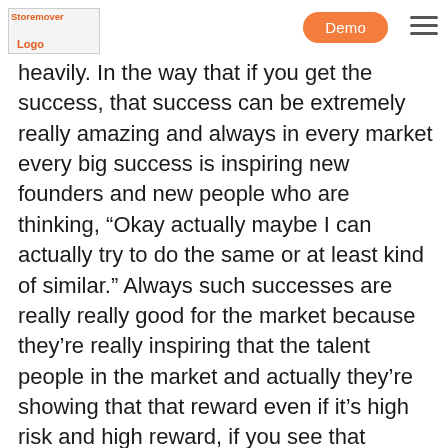StoremoverLogo | Demo
heavily. In the way that if you get the success, that success can be extremely really amazing and always in every market every big success is inspiring new founders and new people who are thinking, “Okay actually maybe I can actually try to do the same or at least kind of similar.” Always such successes are really really good for the market because they’re really inspiring that the talent people in the market and actually they’re showing that that reward even if it’s high risk and high reward, if you see that reward then it’s a little bit easier to imagine yourself on that chair as well.